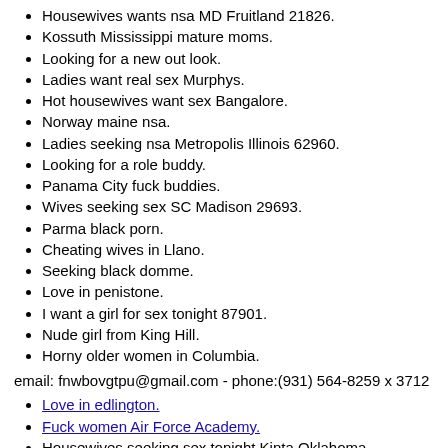Housewives wants nsa MD Fruitland 21826.
Kossuth Mississippi mature moms.
Looking for a new out look.
Ladies want real sex Murphys.
Hot housewives want sex Bangalore.
Norway maine nsa.
Ladies seeking nsa Metropolis Illinois 62960.
Looking for a role buddy.
Panama City fuck buddies.
Wives seeking sex SC Madison 29693.
Parma black porn.
Cheating wives in Llano.
Seeking black domme.
Love in penistone.
I want a girl for sex tonight 87901.
Nude girl from King Hill.
Horny older women in Columbia.
email: fnwbovgtpu@gmail.com - phone:(931) 564-8259 x 3712
Love in edlington.
Fuck women Air Force Academy.
Housewives seeking sex tonight Kinta Oklahoma.
Porn in southaven ms.
Bbw personals Bloomington.